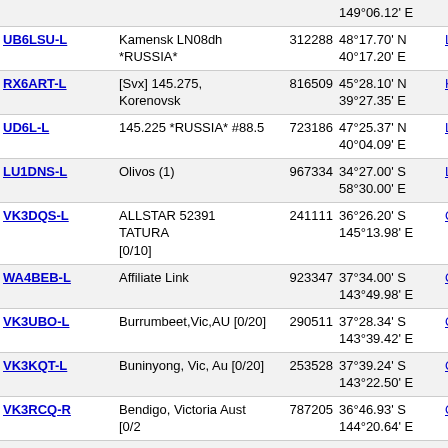| Callsign | Location | Node | Coordinates | Grid | Info |
| --- | --- | --- | --- | --- | --- |
|  |  |  | 149°06.12' E |  |  |
| UB6LSU-L | Kamensk LN08dh *RUSSIA* | 312288 | 48°17.70' N 40°17.20' E | LN08dh | 80 |
| RX6ART-L | [Svx] 145.275, Korenovsk | 816509 | 45°28.10' N 39°27.35' E | KN95rl | 80 |
| UD6L-L | 145.225 *RUSSIA* #88.5 | 723186 | 47°25.37' N 40°04.09' E | LN07ak | 81 |
| LU1DNS-L | Olivos (1) | 967334 | 34°27.00' S 58°30.00' E | LF95gn | 81 |
| VK3DQS-L | ALLSTAR 52391 TATURA [0/10] | 241111 | 36°26.20' S 145°13.98' E | QF23on | 81 |
| WA4BEB-L | Affiliate Link | 923347 | 37°34.00' S 143°49.98' E | QF12vk | 81 |
| VK3UBO-L | Burrumbeet,Vic,AU [0/20] | 290511 | 37°28.34' S 143°39.42' E | QF12tm | 81 |
| VK3KQT-L | Buninyong, Vic, Au [0/20] | 253528 | 37°39.24' S 143°22.50' E | QF12qi | 81 |
| VK3RCQ-R | Bendigo, Victoria Aust [0/2 | 787205 | 36°46.93' S 144°20.64' E | QF23ef | 81 |
| VK4WIS-R | Sunshine Coast | 316084 | 26°41.76' S 153°04.86' E | QG63mh | 814 |
| VK4RRC-R | Redcliffe, Australia | 4464 | 27°02.15' S 152°49.38' E | QG62jx | 814 |
| VK4RC-R | Redcliffe | 44666 | 27°02.13' S 152°49.20' E | QG62jx | 814 |